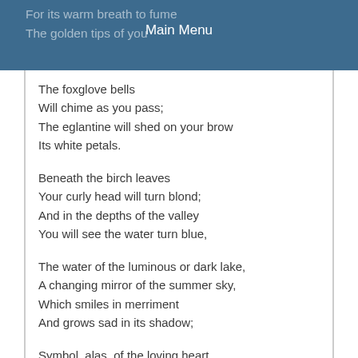For its warm breath to fume
The golden tips of you
Main Menu
The foxglove bells
Will chime as you pass;
The eglantine will shed on your brow
Its white petals.

Beneath the birch leaves
Your curly head will turn blond;
And in the depths of the valley
You will see the water turn blue,

The water of the luminous or dark lake,
A changing mirror of the summer sky,
Which smiles in merriment
And grows sad in its shadow;

Symbol, alas, of the loving heart,
Where the sorrow, where the smile
Of one too well loved, is reflected
Merrily or sadly ...